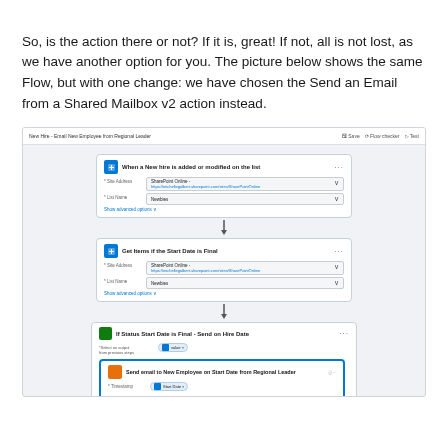So, is the action there or not? If it is, great! If not, all is not lost, as we have another option for you. The picture below shows the same Flow, but with one change: we have chosen the Send an Email from a Shared Mailbox v2 action instead.
[Figure (screenshot): Screenshot of a Microsoft Power Automate flow titled 'New Hire - Email New Employee from Regional Leader' showing: a trigger 'When a New hire is added or modified on the list', followed by 'Get Items if the Start Date is Final', then a condition 'If Status Start Date is Final - Send on Hire Date' with a nested 'Send email to New Employee on Start Date from Regional Leader' action, connected via a diamond arrow to a 'Send an email from a shared mailbox (V2)' action with fields for Mailbox Address, To, Subject, and Body.]